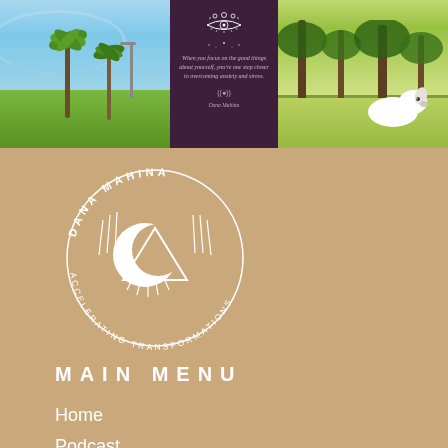[Figure (photo): Three-panel photo strip: left panel shows outdoor scene with palm trees and blue sky, center panel shows dark purple background with eye symbol and inspirational quote, right panel shows outdoor scene with trees and a white dog]
[Figure (logo): Dana Mahina Accelerating Transformations circular logo with crescent moon and triangle geometric design in white on tan background]
MAIN MENU
Home
Podcast
Our Story
Books